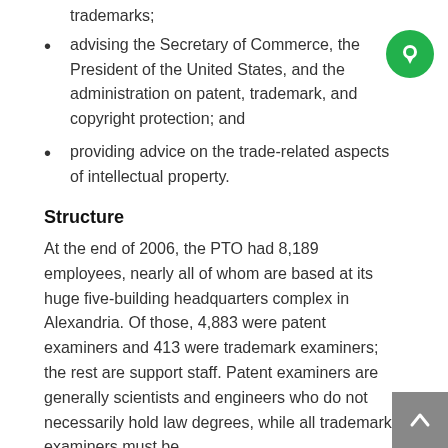trademarks;
advising the Secretary of Commerce, the President of the United States, and the administration on patent, trademark, and copyright protection; and
providing advice on the trade-related aspects of intellectual property.
Structure
At the end of 2006, the PTO had 8,189 employees, nearly all of whom are based at its huge five-building headquarters complex in Alexandria. Of those, 4,883 were patent examiners and 413 were trademark examiners; the rest are support staff. Patent examiners are generally scientists and engineers who do not necessarily hold law degrees, while all trademark examiners must be